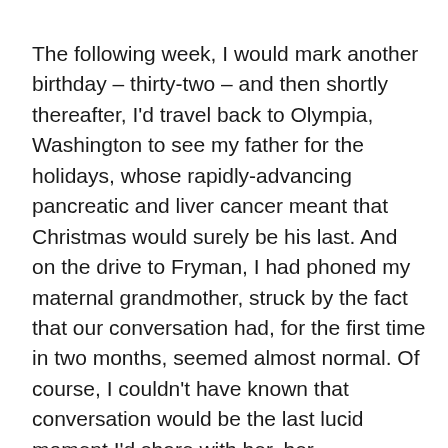The following week, I would mark another birthday – thirty-two – and then shortly thereafter, I'd travel back to Olympia, Washington to see my father for the holidays, whose rapidly-advancing pancreatic and liver cancer meant that Christmas would surely be his last. And on the drive to Fryman, I had phoned my maternal grandmother, struck by the fact that our conversation had, for the first time in two months, seemed almost normal. Of course, I couldn't have known that conversation would be the last lucid moment I'd share with her, her Alzheimer's Disease descending like a fog only days later, never again to lift.
But on this bright November morning, staring down at the city I'd called home for the last thirteen years, I felt remarkably O.K. The troubles plaguing my worried mind were still there, of course, but they weren't here, at least, not right now. Here, it was just me, and my city. Looking